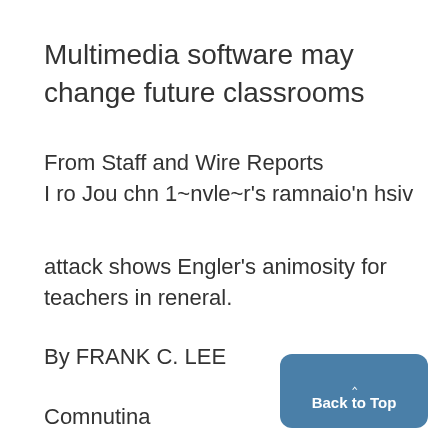Multimedia software may change future classrooms
From Staff and Wire Reports
I ro Jou chn 1~nvle~r's ramnaio'n hsiv
attack shows Engler's animosity for teachers in reneral.
By FRANK C. LEE
Comnutina
Back to Top